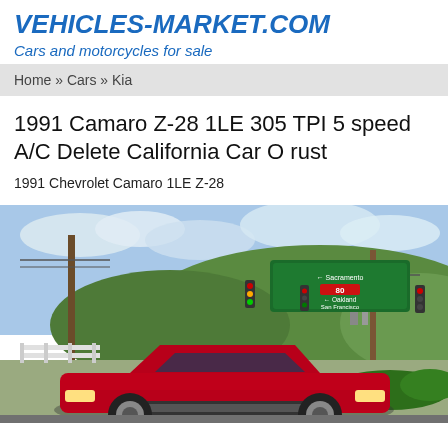VEHICLES-MARKET.COM
Cars and motorcycles for sale
Home » Cars » Kia
1991 Camaro Z-28 1LE 305 TPI 5 speed A/C Delete California Car O rust
1991 Chevrolet Camaro 1LE Z-28
[Figure (photo): Red 1991 Chevrolet Camaro Z-28 photographed at a road intersection with a green highway sign showing Sacramento I-80 and Oakland/San Francisco directions, green hills in the background, utility poles, traffic lights, and a white fence visible.]